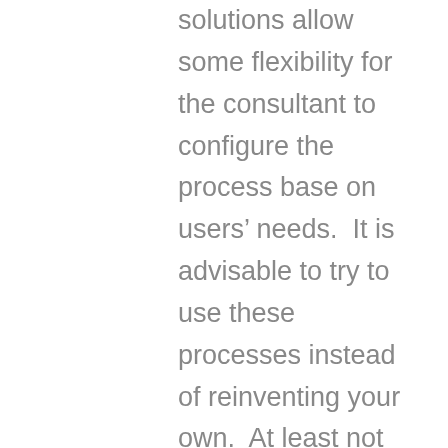solutions allow some flexibility for the consultant to configure the process base on users' needs.  It is advisable to try to use these processes instead of reinventing your own.  At least not until you had used the ERP for some time and